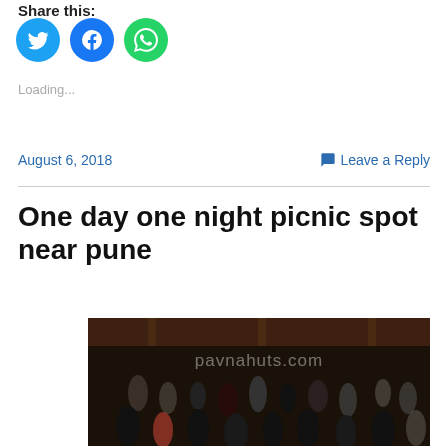Share this:
[Figure (illustration): Three social media share buttons: Twitter (blue bird), Facebook (blue f), WhatsApp (green phone)]
Loading...
August 6, 2018    Leave a Reply
One day one night picnic spot near pune
[Figure (photo): Group photo of a large crowd of people gathered under a wooden pavilion/shelter roof, watermark text: pavnahuts.com]